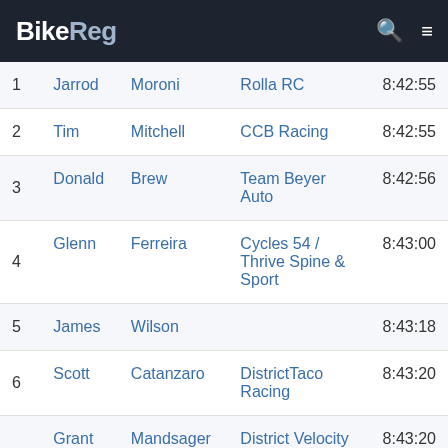BikeReg
| # | First | Last | Team | Time |
| --- | --- | --- | --- | --- |
| 1 | Jarrod | Moroni | Rolla RC | 8:42:55 |
| 2 | Tim | Mitchell | CCB Racing | 8:42:55 |
| 3 | Donald | Brew | Team Beyer Auto | 8:42:56 |
| 4 | Glenn | Ferreira | Cycles 54 / Thrive Spine & Sport | 8:43:00 |
| 5 | James | Wilson |  | 8:43:18 |
| 6 | Scott | Catanzaro | DistrictTaco Racing | 8:43:20 |
| 7 | Grant | Mandsager | District Velocity Racing p/b Bicycle Pro Shop | 8:43:20 |
| 8 | John | Dove | OrthoVirginia Racing | 8:43:21 |
| 9 | Aaron | Hotaling | District Velocity Racing p/b Bicycle Pro Shop | 8:43:21 |